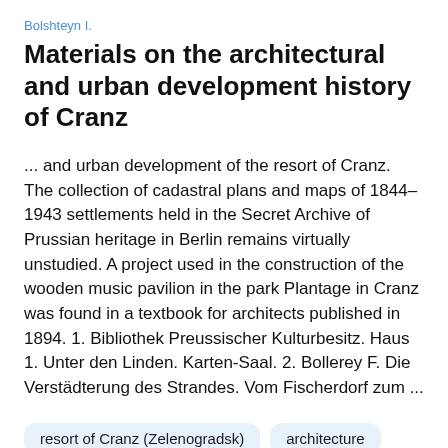Bolshteyn I.
Materials on the architectural and urban development history of Cranz
... and urban development of the resort of Cranz. The collection of cadastral plans and maps of 1844–1943 settlements held in the Secret Archive of Prussian heritage in Berlin remains virtually unstudied. A project used in the construction of the wooden music pavilion in the park Plantage in Cranz was found in a textbook for architects published in 1894. 1. Bibliothek Preussischer Kulturbesitz. Haus 1. Unter den Linden. Karten-Saal. 2. Bollerey F. Die Verstädterung des Strandes. Vom Fischerdorf zum ...
resort of Cranz (Zelenogradsk)
architecture
urban planning
historical sources
model projects